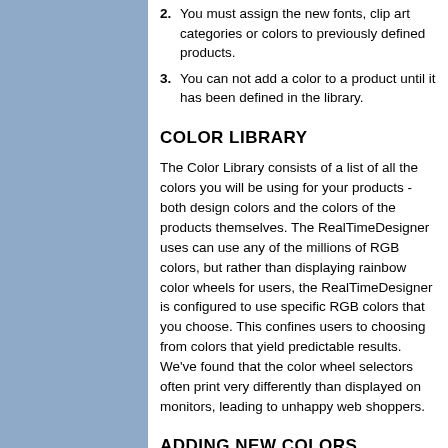2. You must assign the new fonts, clip art categories or colors to previously defined products.
3. You can not add a color to a product until it has been defined in the library.
COLOR LIBRARY
The Color Library consists of a list of all the colors you will be using for your products - both design colors and the colors of the products themselves. The RealTimeDesigner uses can use any of the millions of RGB colors, but rather than displaying rainbow color wheels for users, the RealTimeDesigner is configured to use specific RGB colors that you choose. This confines users to choosing from colors that yield predictable results. We've found that the color wheel selectors often print very differently than displayed on monitors, leading to unhappy web shoppers.
ADDING NEW COLORS